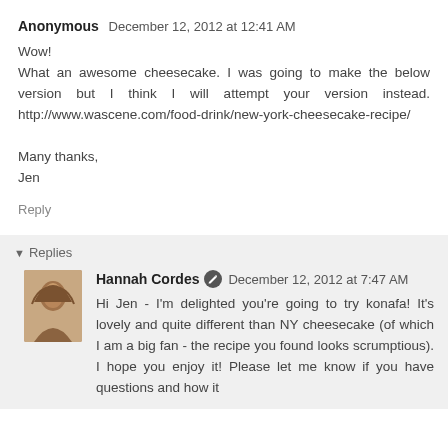Anonymous  December 12, 2012 at 12:41 AM
Wow!
What an awesome cheesecake. I was going to make the below version but I think I will attempt your version instead. http://www.wascene.com/food-drink/new-york-cheesecake-recipe/

Many thanks,
Jen
Reply
▾ Replies
Hannah Cordes  December 12, 2012 at 7:47 AM
Hi Jen - I'm delighted you're going to try konafa! It's lovely and quite different than NY cheesecake (of which I am a big fan - the recipe you found looks scrumptious). I hope you enjoy it! Please let me know if you have questions and how it